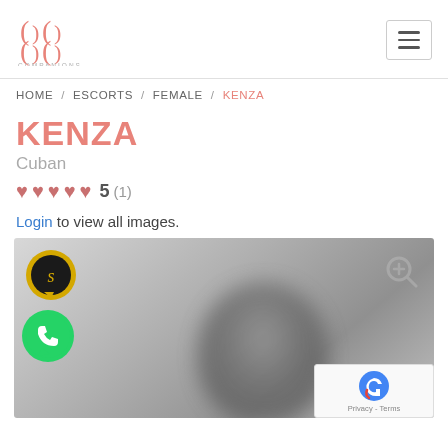[Figure (logo): 888 Companions logo with pink bracket-style symbols and text COMPANIONS below]
HOME / ESCORTS / FEMALE / KENZA
KENZA
Cuban
♥♥♥♥♥ 5 (1)
Login to view all images.
[Figure (photo): Blurred profile photo of a person with dark hair, with Signal app icon overlay, WhatsApp icon overlay, zoom icon, and reCAPTCHA badge in corner]